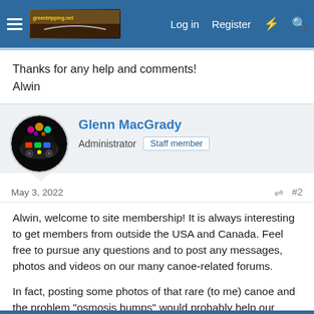Log in  Register
Thanks for any help and comments!
Alwin
Glenn MacGrady
Administrator  Staff member
May 3, 2022  #2
Alwin, welcome to site membership! It is always interesting to get members from outside the USA and Canada. Feel free to pursue any questions and to post any messages, photos and videos on our many canoe-related forums.
In fact, posting some photos of that rare (to me) canoe and the problem "osmosis bumps" would probably help our repair experts give advice. It's easy to post photos by uploading them from your computer or phone, or by linking to a photo site.